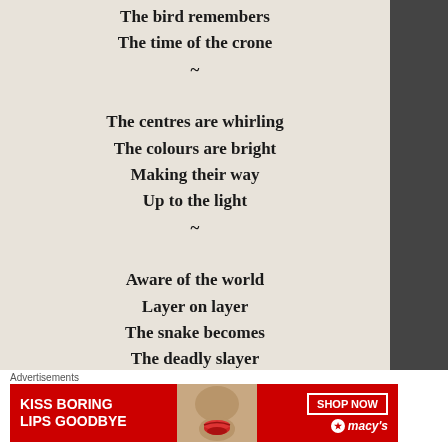The bird remembers
The time of the crone
~
The centres are whirling
The colours are bright
Making their way
Up to the light
~
Aware of the world
Layer on layer
The snake becomes
The deadly slayer
~
Bright light is blinding
There is a fire
[Figure (photo): Advertisement banner for Macy's lipstick promotion. Red background with text 'KISS BORING LIPS GOODBYE', photo of woman's face/lips, 'SHOP NOW' button and Macy's star logo.]
Advertisements